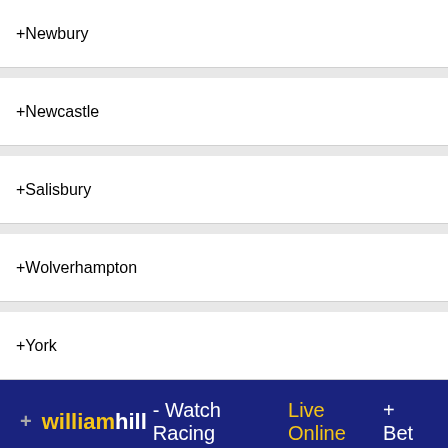+ Newbury
+ Newcastle
+ Salisbury
+ Wolverhampton
+ York
[Figure (other): William Hill advertisement banner: '+ williamhill - Watch Racing Live Online + Bet £10 Get £30*' on dark navy background with yellow and white text]
*New online customers only. Min. unit stake of £10 at odds of 1/2 or greater. Only the win part of EW bets will count. Free bet terms, payment method & country restrictions apply. Free bets credited as 3 x £10. Free bet stakes are not returned in settlement of winning free bets. All Free Bets must be wagered within 30 days. Full T&Cs here.